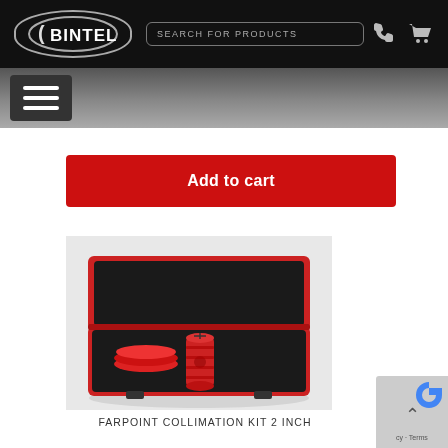BINTEL — Search for products
Add to cart
[Figure (photo): A red hard-shell carrying case open to reveal foam interior holding two red anodized telescope collimation tools — a cap and a Cheshire eyepiece — sitting on a light background. Product: Farpoint Collimation Kit 2 Inch.]
FARPOINT COLLIMATION KIT 2 INCH